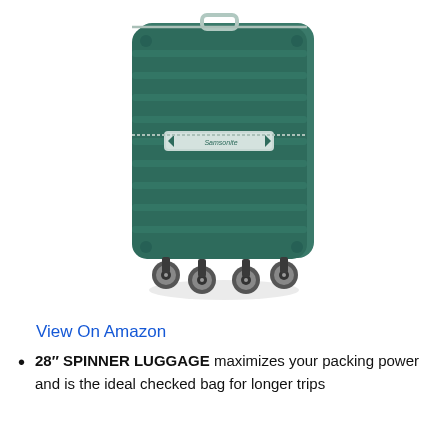[Figure (photo): A teal/dark green Samsonite hard-shell spinner luggage suitcase with horizontal ridges, a silver Samsonite logo bar in the middle, and four dual spinner wheels at the bottom. The suitcase is photographed at a slight angle against a white background.]
View On Amazon
28″ SPINNER LUGGAGE maximizes your packing power and is the ideal checked bag for longer trips